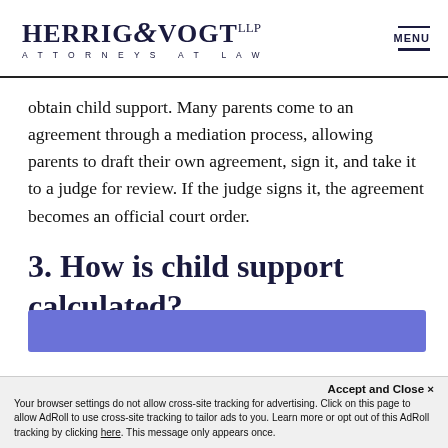HERRIG & VOGT LLP ATTORNEYS AT LAW | MENU
obtain child support. Many parents come to an agreement through a mediation process, allowing parents to draft their own agreement, sign it, and take it to a judge for review. If the judge signs it, the agreement becomes an official court order.
3. How is child support calculated?
[Figure (other): Blue/purple banner strip at bottom of content area]
Accept and Close ✕
Your browser settings do not allow cross-site tracking for advertising. Click on this page to allow AdRoll to use cross-site tracking to tailor ads to you. Learn more or opt out of this AdRoll tracking by clicking here. This message only appears once.